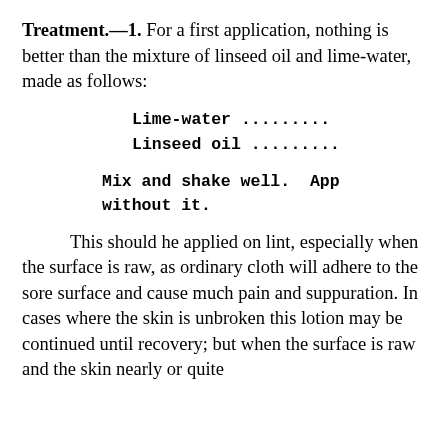Treatment.—1. For a first application, nothing is better than the mixture of linseed oil and lime-water, made as follows:
Lime-water .........
Linseed oil .........
Mix and shake well.  App without it.
This should he applied on lint, especially when the surface is raw, as ordinary cloth will adhere to the sore surface and cause much pain and suppuration. In cases where the skin is unbroken this lotion may be continued until recovery; but when the surface is raw and the skin nearly or quite